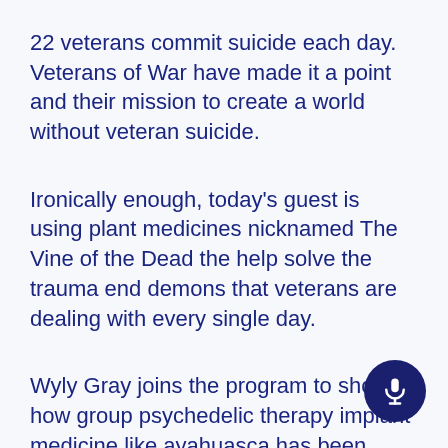22 veterans commit suicide each day. Veterans of War have made it a point and their mission to create a world without veteran suicide.
Ironically enough, today's guest is using plant medicines nicknamed The Vine of the Dead the help solve the trauma end demons that veterans are dealing with every single day.
Wyly Gray joins the program to show how group psychedelic therapy implant medicine like ayahuasca has been changing the conversa on mental health in military veterans.